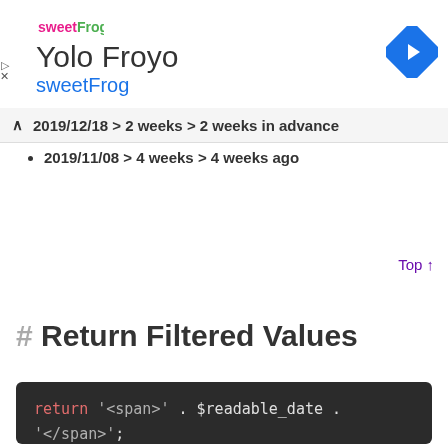[Figure (screenshot): Ad banner for Yolo Froyo / sweetFrog with logo, navigation icon, and ad controls]
2019/12/18 > 2 weeks > 2 weeks in advance
2019/11/08 > 4 weeks > 4 weeks ago
Top ↑
# Return Filtered Values
[Figure (screenshot): Code block showing: return '<span>' . $readable_date . '</span>';]